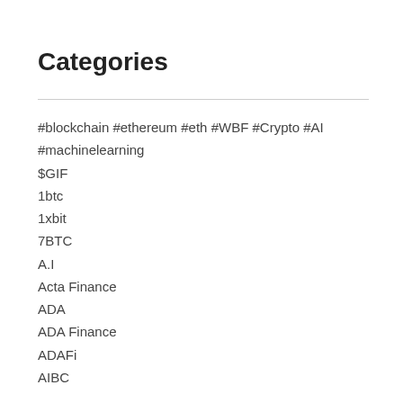Categories
#blockchain #ethereum #eth #WBF #Crypto #AI #machinelearning
$GIF
1btc
1xbit
7BTC
A.I
Acta Finance
ADA
ADA Finance
ADAFi
AIBC